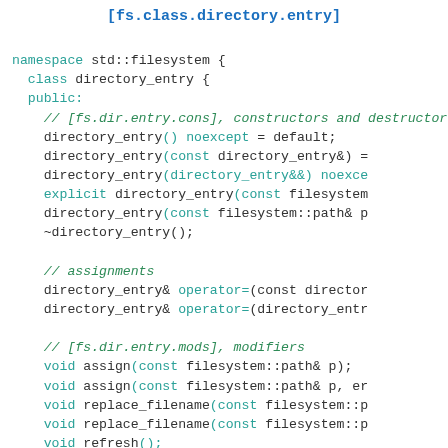[fs.class.directory.entry]
[Figure (screenshot): C++ code block showing the filesystem::directory_entry class definition with namespace, constructors, destructor, assignments, modifiers, and observers sections]
namespace std::filesystem {
  class directory_entry {
  public:
    // [fs.dir.entry.cons], constructors and destructor
    directory_entry() noexcept = default;
    directory_entry(const directory_entry&) =
    directory_entry(directory_entry&&) noexce
    explicit directory_entry(const filesystem
    directory_entry(const filesystem::path& p
    ~directory_entry();

    // assignments
    directory_entry& operator=(const director
    directory_entry& operator=(directory_entr

    // [fs.dir.entry.mods], modifiers
    void assign(const filesystem::path& p);
    void assign(const filesystem::path& p, er
    void replace_filename(const filesystem::p
    void replace_filename(const filesystem::p
    void refresh();
    void refresh(error_code& ec) noexcept;

    // [fs.dir.entry.obs], observers
    const filesystem::path& path() const noex
    operator const filesystem::path&() const